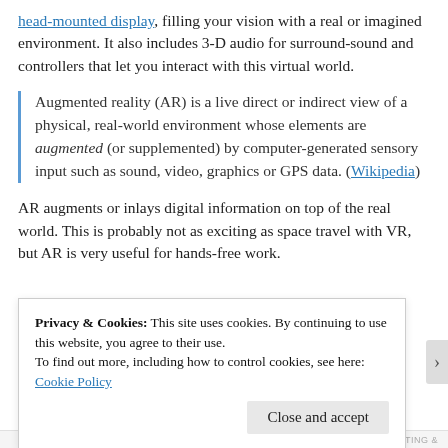head-mounted display, filling your vision with a real or imagined environment. It also includes 3-D audio for surround-sound and controllers that let you interact with this virtual world.
Augmented reality (AR) is a live direct or indirect view of a physical, real-world environment whose elements are augmented (or supplemented) by computer-generated sensory input such as sound, video, graphics or GPS data. (Wikipedia)
AR augments or inlays digital information on top of the real world. This is probably not as exciting as space travel with VR, but AR is very useful for hands-free work.
Privacy & Cookies: This site uses cookies. By continuing to use this website, you agree to their use.
To find out more, including how to control cookies, see here: Cookie Policy
Close and accept